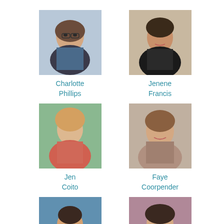[Figure (photo): Headshot of Charlotte Phillips, young woman with curly hair and glasses]
Charlotte Phillips
[Figure (photo): Headshot of Jenene Francis, woman with dark hair, smiling]
Jenene Francis
[Figure (photo): Headshot of Jen Coito, young woman with blonde hair]
Jen Coito
[Figure (photo): Headshot of Faye Coorpender, woman with brown hair smiling]
Faye Coorpender
[Figure (photo): Headshot of Melinda LeBlanc, woman with short dark hair]
Melinda LeBlanc
[Figure (photo): Headshot of Kathy Powell, woman with dark hair against brick background]
Kathy Powell
[Figure (photo): Partial headshot of unknown person, bottom left]
[Figure (photo): Partial headshot of unknown person, bottom right]